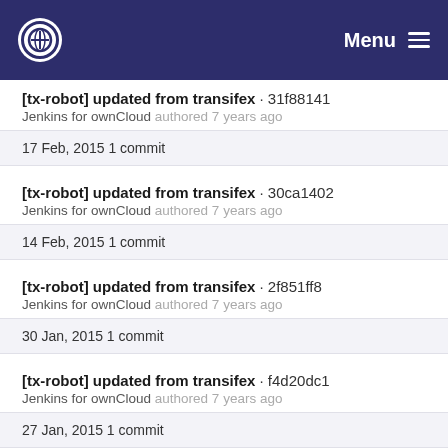Menu
[tx-robot] updated from transifex · 31f88141
Jenkins for ownCloud authored 7 years ago
17 Feb, 2015 1 commit
[tx-robot] updated from transifex · 30ca1402
Jenkins for ownCloud authored 7 years ago
14 Feb, 2015 1 commit
[tx-robot] updated from transifex · 2f851ff8
Jenkins for ownCloud authored 7 years ago
30 Jan, 2015 1 commit
[tx-robot] updated from transifex · f4d20dc1
Jenkins for ownCloud authored 7 years ago
27 Jan, 2015 1 commit
[tx-robot] updated from transifex · c8f58054